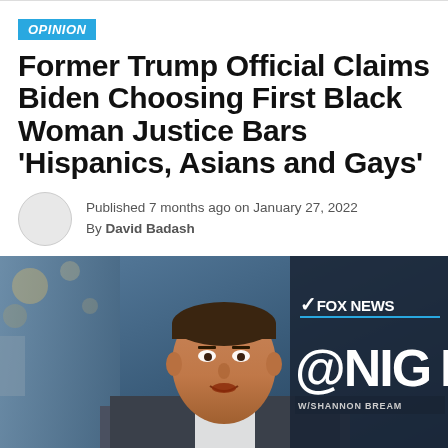OPINION
Former Trump Official Claims Biden Choosing First Black Woman Justice Bars ‘Hispanics, Asians and Gays’
Published 7 months ago on January 27, 2022
By David Badash
[Figure (photo): A man speaking on Fox News @ Night with Shannon Bream. The Fox News logo and '@NIGHT' text visible on background graphics.]